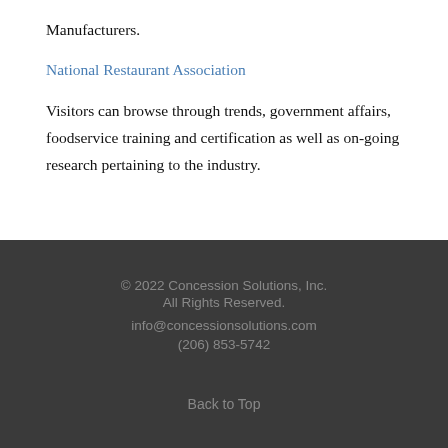Manufacturers.
National Restaurant Association
Visitors can browse through trends, government affairs, foodservice training and certification as well as on-going research pertaining to the industry.
© 2022 Concession Solutions, Inc. All Rights Reserved. info@concessionsolutions.com (206) 853-5742 Back to Top